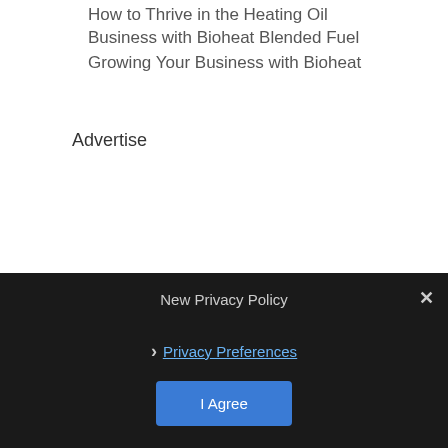How to Thrive in the Heating Oil Business with Bioheat Blended Fuel
Growing Your Business with Bioheat
Advertise
New Privacy Policy
Privacy Preferences
I Agree